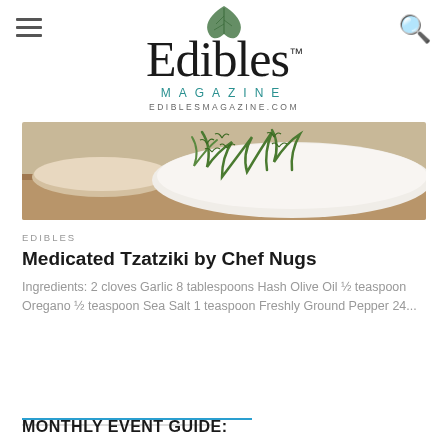[Figure (logo): Edibles Magazine logo with cannabis leaf, cursive Edibles text, MAGAZINE subtitle, and EDIBLESMAGAZINE.COM URL]
[Figure (photo): Food photo showing tzatziki dip with fresh dill garnish and a bowl in the background]
EDIBLES
Medicated Tzatziki by Chef Nugs
Ingredients: 2 cloves Garlic 8 tablespoons Hash Olive Oil ½ teaspoon Oregano ½ teaspoon Sea Salt 1 teaspoon Freshly Ground Pepper 24...
MONTHLY EVENT GUIDE: